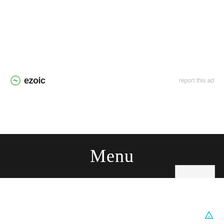[Figure (logo): Ezoic logo with circular icon and bold text 'ezoic']
report this ad
Menu
Search for
1. 15 SMALL BATHROOM DESIGNS
2. TOP SHOWER TILE DESIGNS